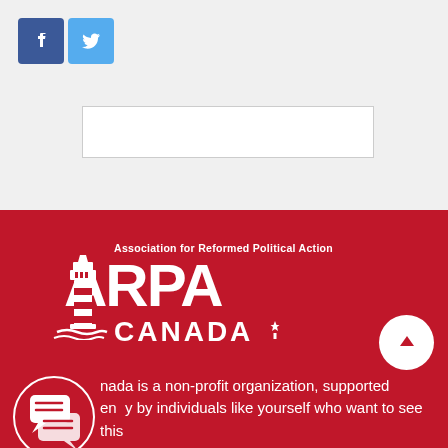[Figure (logo): Facebook and Twitter social media icon buttons in the top left corner]
[Figure (other): Empty white search/input box]
[Figure (logo): ARPA Canada logo on red background - Association for Reformed Political Action with lighthouse icon]
[Figure (other): Chat bubble icon overlay on lower left]
nada is a non-profit organization, supported en  y by individuals like yourself who want to see this